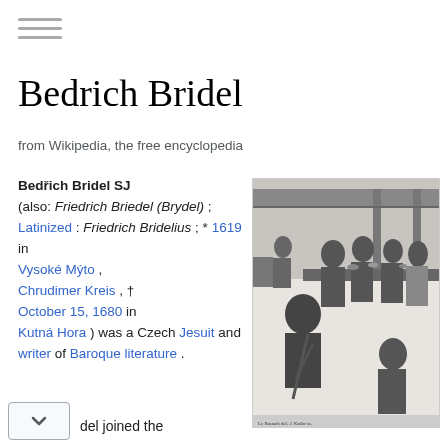[Figure (other): Hamburger menu icon (three horizontal lines)]
Bedrich Bridel
from Wikipedia, the free encyclopedia
Bedřich Bridel SJ (also: Friedrich Briedel (Brydel) ; Latinized : Friedrich Bridelius ; * 1619 in Vysoké Mýto , Chrudimer Kreis , † October 15, 1680 in Kutná Hora ) was a Czech Jesuit and writer of Baroque literature .
[Figure (illustration): Black and white engraving showing a group of people gathered around a table, appearing to be eating or meeting in a covered outdoor setting]
del joined the